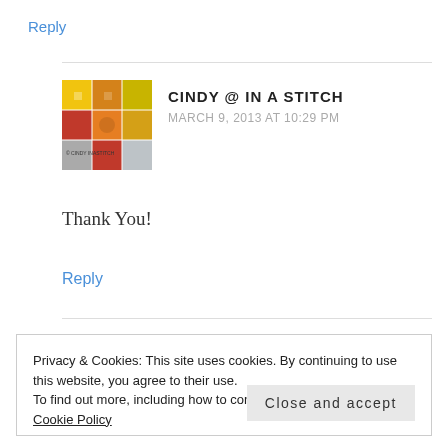Reply
[Figure (photo): Avatar image of Cindy @ In A Stitch, showing a colorful quilted fabric pattern]
CINDY @ IN A STITCH
MARCH 9, 2013 AT 10:29 PM
Thank You!
Reply
Privacy & Cookies: This site uses cookies. By continuing to use this website, you agree to their use.
To find out more, including how to control cookies, see here: Cookie Policy
Close and accept